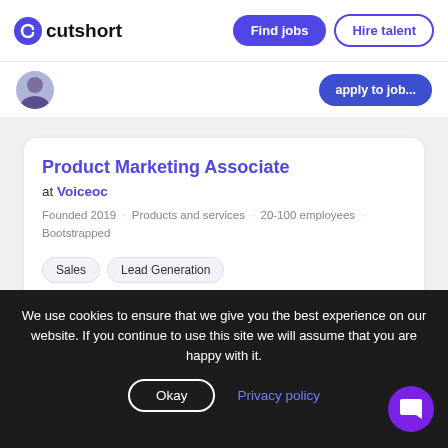cutshort | Find jobs | Hire talent
Product Marketing Associate
at Voiceoc
Founded 2019 · Products and services · 20-100 employees · Bootstrapped
Sales
Lead Generation
Social Media Marketing (SMM)
Noida, Delhi, Gurugram, Ghaziabad, Faridabad
0 - 1 years   ₹3L - ₹3.3L/yr
We use cookies to ensure that we give you the best experience on our website. If you continue to use this site we will assume that you are happy with it.
Okay | Privacy policy